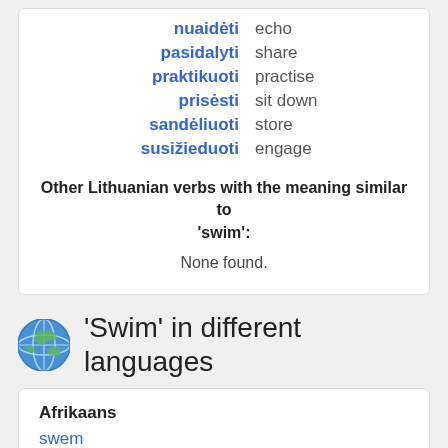nuaidėti – echo
pasidalyti – share
praktikuoti – practise
prisėsti – sit down
sandėliuoti – store
susižieduoti – engage
Other Lithuanian verbs with the meaning similar to 'swim':
None found.
'Swim' in different languages
Afrikaans
swem